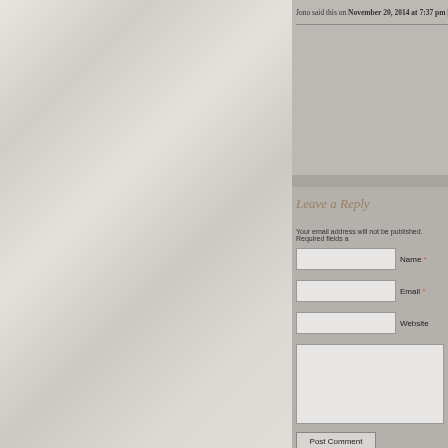Jono said this on November 20, 2014 at 7:37 pm | Reply
Leave a Reply
Your email address will not be published. Required fields a...
Name *
Email *
Website
Post Comment